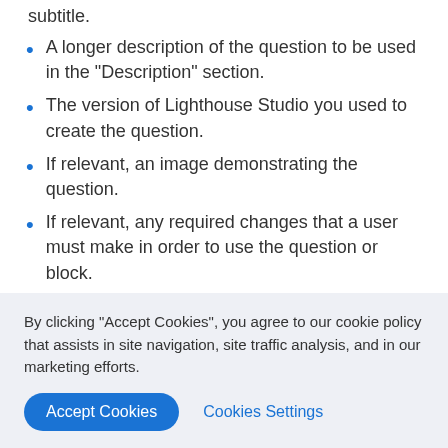subtitle.
A longer description of the question to be used in the "Description" section.
The version of Lighthouse Studio you used to create the question.
If relevant, an image demonstrating the question.
If relevant, any required changes that a user must make in order to use the question or block.
If relevant, any optional changes that a user can
By clicking “Accept Cookies”, you agree to our cookie policy that assists in site navigation, site traffic analysis, and in our marketing efforts.